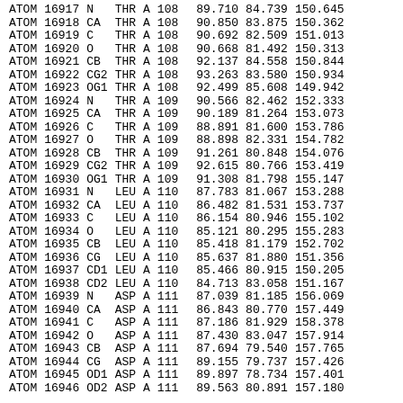| Record | Serial | Atom | Res | Chain | ResSeq |  | X | Y | Z |
| --- | --- | --- | --- | --- | --- | --- | --- | --- | --- |
| ATOM | 16917 | N | THR | A | 108 |  | 89.710 | 84.739 | 150.645 |
| ATOM | 16918 | CA | THR | A | 108 |  | 90.850 | 83.875 | 150.362 |
| ATOM | 16919 | C | THR | A | 108 |  | 90.692 | 82.509 | 151.013 |
| ATOM | 16920 | O | THR | A | 108 |  | 90.668 | 81.492 | 150.313 |
| ATOM | 16921 | CB | THR | A | 108 |  | 92.137 | 84.558 | 150.844 |
| ATOM | 16922 | CG2 | THR | A | 108 |  | 93.263 | 83.580 | 150.934 |
| ATOM | 16923 | OG1 | THR | A | 108 |  | 92.499 | 85.608 | 149.942 |
| ATOM | 16924 | N | THR | A | 109 |  | 90.566 | 82.462 | 152.333 |
| ATOM | 16925 | CA | THR | A | 109 |  | 90.189 | 81.264 | 153.073 |
| ATOM | 16926 | C | THR | A | 109 |  | 88.891 | 81.600 | 153.786 |
| ATOM | 16927 | O | THR | A | 109 |  | 88.898 | 82.331 | 154.782 |
| ATOM | 16928 | CB | THR | A | 109 |  | 91.261 | 80.848 | 154.076 |
| ATOM | 16929 | CG2 | THR | A | 109 |  | 92.615 | 80.766 | 153.419 |
| ATOM | 16930 | OG1 | THR | A | 109 |  | 91.308 | 81.798 | 155.147 |
| ATOM | 16931 | N | LEU | A | 110 |  | 87.783 | 81.067 | 153.288 |
| ATOM | 16932 | CA | LEU | A | 110 |  | 86.482 | 81.531 | 153.737 |
| ATOM | 16933 | C | LEU | A | 110 |  | 86.154 | 80.946 | 155.102 |
| ATOM | 16934 | O | LEU | A | 110 |  | 85.121 | 80.295 | 155.283 |
| ATOM | 16935 | CB | LEU | A | 110 |  | 85.418 | 81.179 | 152.702 |
| ATOM | 16936 | CG | LEU | A | 110 |  | 85.637 | 81.880 | 151.356 |
| ATOM | 16937 | CD1 | LEU | A | 110 |  | 85.466 | 80.915 | 150.205 |
| ATOM | 16938 | CD2 | LEU | A | 110 |  | 84.713 | 83.058 | 151.167 |
| ATOM | 16939 | N | ASP | A | 111 |  | 87.039 | 81.185 | 156.069 |
| ATOM | 16940 | CA | ASP | A | 111 |  | 86.843 | 80.770 | 157.449 |
| ATOM | 16941 | C | ASP | A | 111 |  | 87.186 | 81.929 | 158.378 |
| ATOM | 16942 | O | ASP | A | 111 |  | 87.430 | 83.047 | 157.914 |
| ATOM | 16943 | CB | ASP | A | 111 |  | 87.694 | 79.540 | 157.765 |
| ATOM | 16944 | CG | ASP | A | 111 |  | 89.155 | 79.737 | 157.426 |
| ATOM | 16945 | OD1 | ASP | A | 111 |  | 89.897 | 78.734 | 157.401 |
| ATOM | 16946 | OD2 | ASP | A | 111 |  | 89.563 | 80.891 | 157.180 |